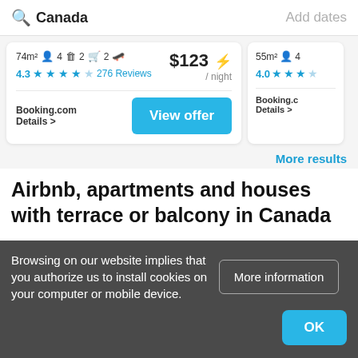Canada   Add dates
[Figure (screenshot): Hotel/apartment listing card showing 74m² 4 guests 2 beds 2 baths, $123/night, rating 4.3 with 276 reviews, Booking.com with View offer button. Partial second card showing 55m² 4 guests, rating 4.0.]
More results
Airbnb, apartments and houses with terrace or balcony in Canada
Browsing on our website implies that you authorize us to install cookies on your computer or mobile device.
More information
OK